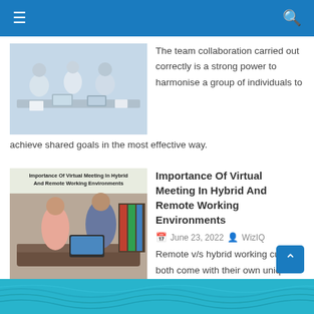Navigation bar with menu and search icons
[Figure (photo): People collaborating around a table with laptops and documents]
The team collaboration carried out correctly is a strong power to harmonise a group of individuals to achieve shared goals in the most effective way.
[Figure (photo): Thumbnail image for article: Importance Of Virtual Meeting In Hybrid And Remote Working Environments. Shows two people looking at a laptop while seated.]
Importance Of Virtual Meeting In Hybrid And Remote Working Environments
June 23, 2022  WizIQ
Remote v/s hybrid working culture; both come with their own unique shades and worries. Organizations have quickly adapted to a remote work culture now
Footer with decorative wave pattern